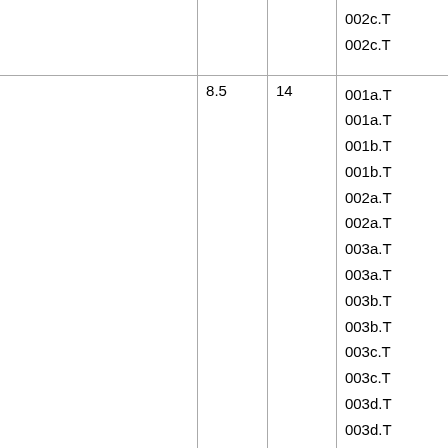|  |  |  |  |
| --- | --- | --- | --- |
|  |  |  | 002c.T
002c.T |
|  | 8.5 | 14 | 001a.T
001a.T
001b.T
001b.T
002a.T
002a.T
003a.T
003a.T
003b.T
003b.T
003c.T
003c.T
003d.T
003d.T |
|  | 8.6 | 16 | 001a.T
001a.T |